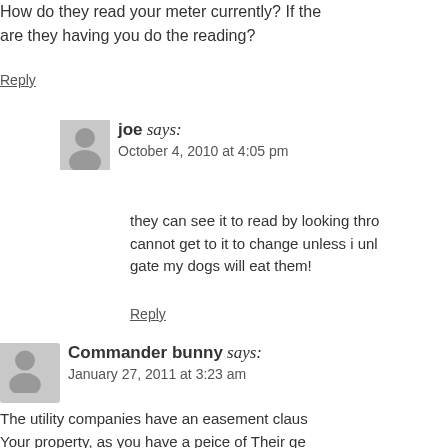How do they read your meter currently? If the are they having you do the reading?
Reply
joe says:
October 4, 2010 at 4:05 pm
they can see it to read by looking thro cannot get to it to change unless i unl gate my dogs will eat them!
Reply
Commander bunny says:
January 27, 2011 at 3:23 am
The utility companies have an easement claus Your property, as you have a peice of Their ge Wellington Energy does'nt, and can be told to
Reply